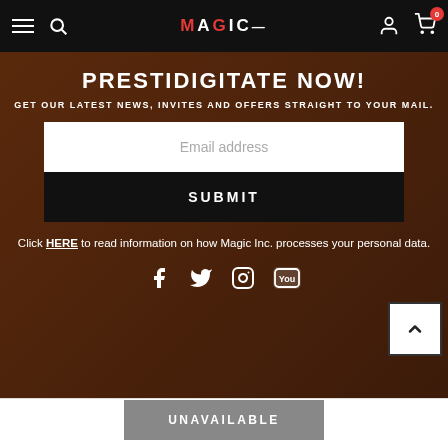MAGIC INC. Navigation bar with hamburger menu, search, logo, account, and cart (0 items)
PRESTIDIGITATE NOW!
GET OUR LATEST NEWS, INVITES AND OFFERS STRAIGHT TO YOUR MAIL.
Email address
SUBMIT
Click HERE to read information on how Magic Inc. processes your personal data.
[Figure (infographic): Social media icons: Facebook, Twitter, Instagram, YouTube]
UNAVAILABLE